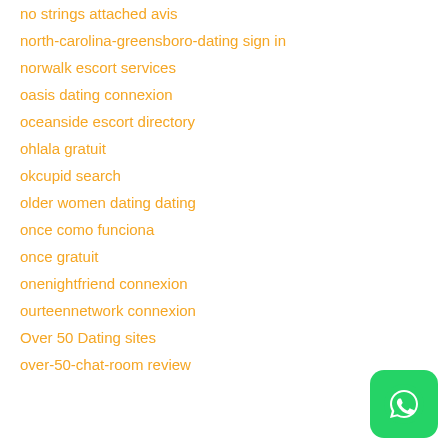no strings attached avis
north-carolina-greensboro-dating sign in
norwalk escort services
oasis dating connexion
oceanside escort directory
ohlala gratuit
okcupid search
older women dating dating
once como funciona
once gratuit
onenightfriend connexion
ourteennetwork connexion
Over 50 Dating sites
over-50-chat-room review
[Figure (logo): WhatsApp green logo icon with phone handset symbol]